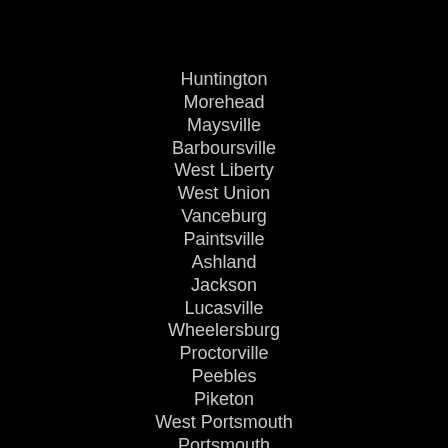Huntington
Morehead
Maysville
Barboursville
West Liberty
West Union
Vanceburg
Paintsville
Ashland
Jackson
Lucasville
Wheelersburg
Proctorville
Peebles
Piketon
West Portsmouth
Portsmouth
Grayson
Olive Hill
Salyersville
Greenup
Flatwoods
Carlisle